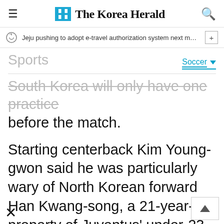The Korea Herald
Jeju pushing to adopt e-travel authorization system next month f…
Sports
Soccer
South Korea will only have one practice before the match.
Starting centerback Kim Young-gwon said he was particularly wary of North Korean forward Han Kwang-song, a 21-year-old property of Juventus' under-23 squad.
"Most of their attackers are fast, and Han Kwang-song stood out from that group." h…